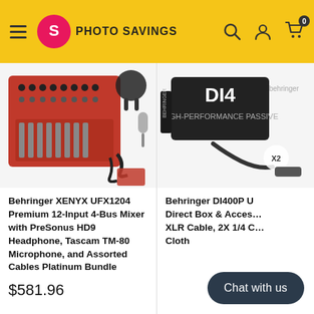Photo Savings
[Figure (photo): Behringer XENYX UFX1204 mixer bundle with headphones, microphone, and cables]
Behringer XENYX UFX1204 Premium 12-Input 4-Bus Mixer with PreSonus HD9 Headphone, Tascam TM-80 Microphone, and Assorted Cables Platinum Bundle
$581.96
[Figure (photo): Behringer DI400P Ultra-DI Direct Box with XLR cable and accessories]
Behringer DI400P Ultra-DI Direct Box & Accessories XLR Cable, 2X 1/4 Cable, Cloth
Chat with us